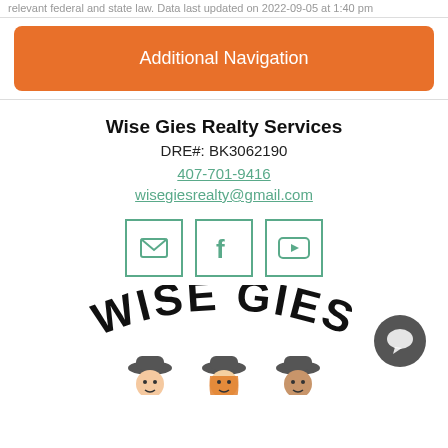relevant federal and state law. Data last updated on 2022-09-05 at 1:40 pm
Additional Navigation
Wise Gies Realty Services
DRE#: BK3062190
407-701-9416
wisegiesrealty@gmail.com
[Figure (illustration): Three social media icon boxes with teal borders: envelope/email icon, Facebook 'f' icon, and YouTube play button icon]
[Figure (logo): Wise Gies Realty Services logo showing 'WISE GIES' text in large bold arched lettering with three cartoon detective characters wearing gray hats below, and a chat bubble icon in the lower right]